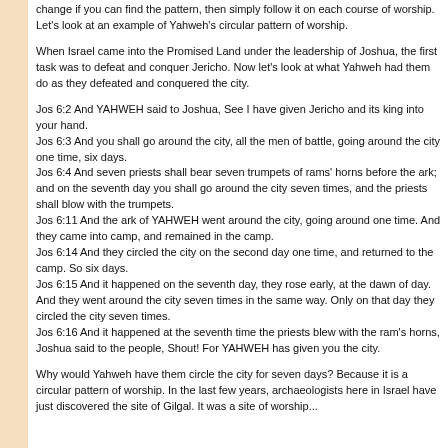change if you can find the pattern, then simply follow it on each course of worship. Let's look at an example of Yahweh's circular pattern of worship.
When Israel came into the Promised Land under the leadership of Joshua, the first task was to defeat and conquer Jericho. Now let's look at what Yahweh had them do as they defeated and conquered the city.
Jos 6:2 And YAHWEH said to Joshua, See I have given Jericho and its king into your hand.
Jos 6:3 And you shall go around the city, all the men of battle, going around the city one time, six days.
Jos 6:4 And seven priests shall bear seven trumpets of rams' horns before the ark; and on the seventh day you shall go around the city seven times, and the priests shall blow with the trumpets.
Jos 6:11 And the ark of YAHWEH went around the city, going around one time. And they came into camp, and remained in the camp.
Jos 6:14 And they circled the city on the second day one time, and returned to the camp. So six days.
Jos 6:15 And it happened on the seventh day, they rose early, at the dawn of day. And they went around the city seven times in the same way. Only on that day they circled the city seven times.
Jos 6:16 And it happened at the seventh time the priests blew with the ram's horns, Joshua said to the people, Shout! For YAHWEH has given you the city.
Why would Yahweh have them circle the city for seven days? Because it is a circular pattern of worship. In the last few years, archaeologists here in Israel have just discovered the site of Gilgal. It was a site of worship...